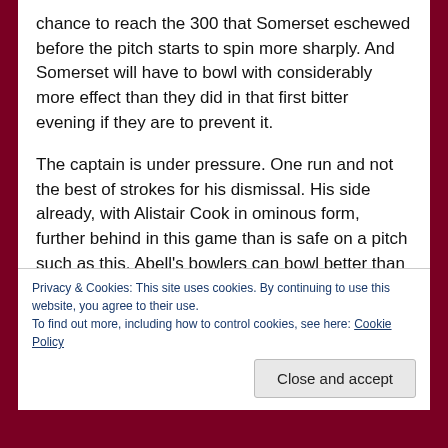chance to reach the 300 that Somerset eschewed before the pitch starts to spin more sharply. And Somerset will have to bowl with considerably more effect than they did in that first bitter evening if they are to prevent it.
The captain is under pressure. One run and not the best of strokes for his dismissal. His side already, with Alistair Cook in ominous form, further behind in this game than is safe on a pitch such as this. Abell's bowlers can bowl better than they did and will have to. His batsmen will have to perform to their full potential in their second innings on a pitch
Privacy & Cookies: This site uses cookies. By continuing to use this website, you agree to their use.
To find out more, including how to control cookies, see here: Cookie Policy
Close and accept